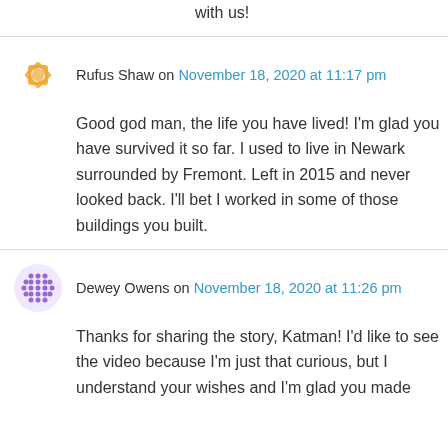Yeah, that tops my story. Holy shit. Glad you're with us!
Rufus Shaw on November 18, 2020 at 11:17 pm
Good god man, the life you have lived! I'm glad you have survived it so far. I used to live in Newark surrounded by Fremont. Left in 2015 and never looked back. I'll bet I worked in some of those buildings you built.
Dewey Owens on November 18, 2020 at 11:26 pm
Thanks for sharing the story, Katman! I'd like to see the video because I'm just that curious, but I understand your wishes and I'm glad you made